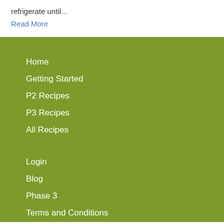refrigerate until...
Read More
Home
Getting Started
P2 Recipes
P3 Recipes
All Recipes
Login
Blog
Phase 3
Terms and Conditions